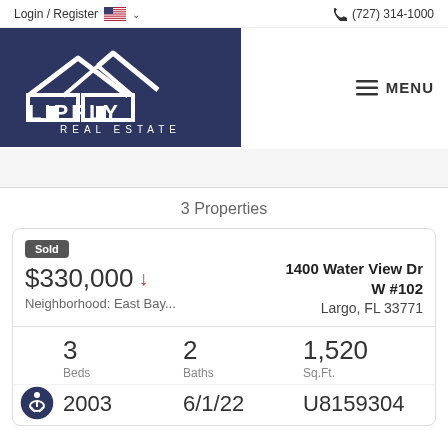Login / Register  🇺🇸 ∨  ☎ (727) 314-1000
[Figure (logo): Lipply Real Estate logo — white house/roof outline on dark navy background with text LIPPLY REAL ESTATE]
≡ MENU
3 Properties
Sold
$330,000 ↓
Neighborhood: East Bay...
1400 Water View Dr W #102
Largo, FL 33771
3
Beds
2
Baths
1,520
Sq.Ft.
2003
6/1/22
U8159304